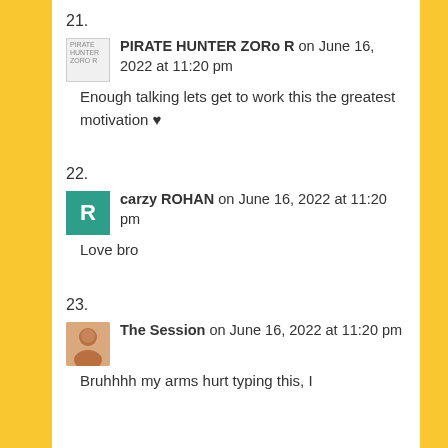21. PIRATE HUNTER ZORo R on June 16, 2022 at 11:20 pm
Enough talking lets get to work this the greatest motivation ♥
22. carzy ROHAN on June 16, 2022 at 11:20 pm
Love bro
23. The Session on June 16, 2022 at 11:20 pm
Bruhhhh my arms hurt typing this, I